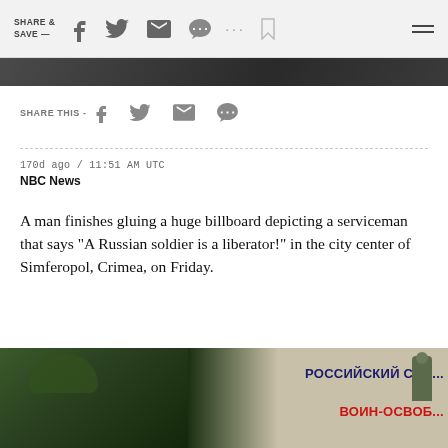SHARE & SAVE —
[Figure (photo): Partial dark photo at top of page, cropped]
SHARE THIS -
170d ago / 11:51 AM UTC
NBC News
A man finishes gluing a huge billboard depicting a serviceman that says "A Russian soldier is a liberator!" in the city center of Simferopol, Crimea, on Friday.
[Figure (photo): Photo of a masked soldier in green camouflage gear holding a weapon, with a billboard showing Cyrillic text 'РОССИЙСКИЙ СОЛ... ВОИН-ОСВОБ...' in background]